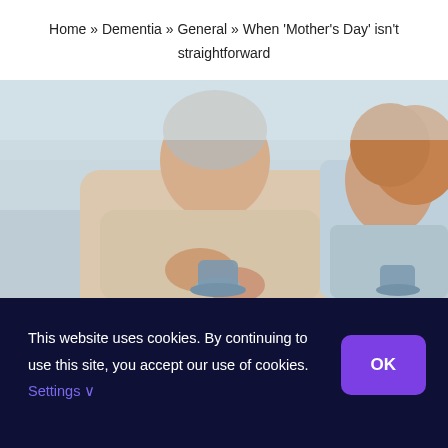Home » Dementia » General » When 'Mother's Day' isn't straightforward
[Figure (photo): Two women sitting together, an elderly woman holding a blue cup and saucer with another younger woman beside her, both in a warm interior setting]
This website uses cookies. By continuing to use this site, you accept our use of cookies. Settings ∨